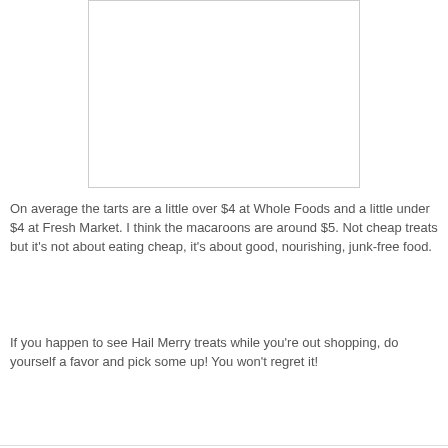[Figure (other): White rectangle with border, representing an image placeholder]
On average the tarts are a little over $4 at Whole Foods and a little under $4 at Fresh Market. I think the macaroons are around $5. Not cheap treats but it's not about eating cheap, it's about good, nourishing, junk-free food.
If you happen to see Hail Merry treats while you're out shopping, do yourself a favor and pick some up! You won't regret it!